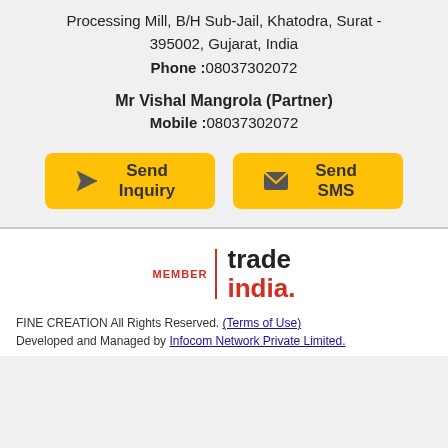Processing Mill, B/H Sub-Jail, Khatodra, Surat - 395002, Gujarat, India
Phone :08037302072
Mr Vishal Mangrola (Partner)
Mobile :08037302072
[Figure (infographic): Two yellow buttons: 'Send Inquiry' with a paper plane icon and 'Send SMS' with an envelope icon]
[Figure (logo): MEMBER | trade india. logo with red vertical divider]
FINE CREATION All Rights Reserved. (Terms of Use)
Developed and Managed by Infocom Network Private Limited.